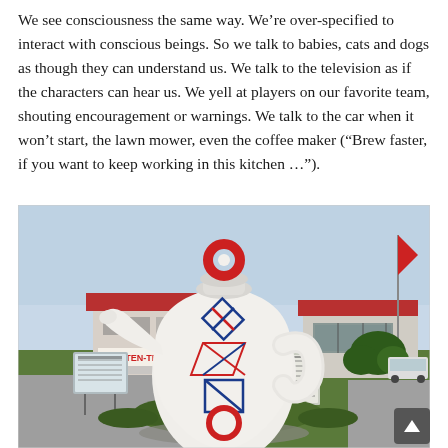We see consciousness the same way. We’re over-specified to interact with conscious beings. So we talk to babies, cats and dogs as though they can understand us. We talk to the television as if the characters can hear us. We yell at players on our favorite team, shouting encouragement or warnings. We talk to the car when it won’t start, the lawn mower, even the coffee maker (“Brew faster, if you want to keep working in this kitchen …”).
[Figure (photo): A large novelty white coffee pot / teapot sculpture standing in front of a commercial building with a red roof labeled TAPETEN-TEPPIC. The pot has red and blue geometric logo markings on it. There is a small information board on poles to the left, shrubbery around the base, and a red flag in the background on the right.]